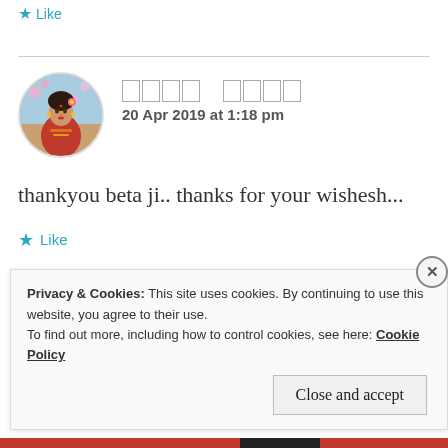★ Like
[Figure (photo): Circular avatar of a woman dressed in traditional Indian attire with decorative elements]
□□□□ □□□□
20 Apr 2019 at 1:18 pm
thankyou beta ji.. thanks for your wishesh...
★ Like
Privacy & Cookies: This site uses cookies. By continuing to use this website, you agree to their use.
To find out more, including how to control cookies, see here: Cookie Policy
Close and accept